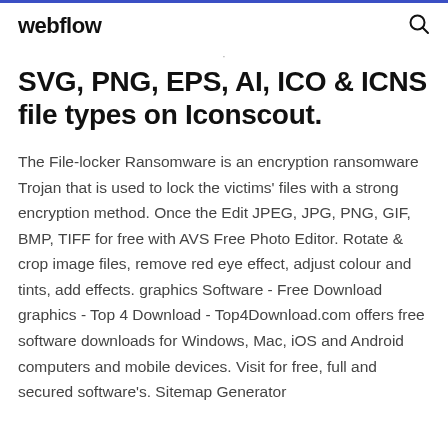webflow
SVG, PNG, EPS, AI, ICO & ICNS file types on Iconscout.
The File-locker Ransomware is an encryption ransomware Trojan that is used to lock the victims' files with a strong encryption method. Once the Edit JPEG, JPG, PNG, GIF, BMP, TIFF for free with AVS Free Photo Editor. Rotate & crop image files, remove red eye effect, adjust colour and tints, add effects. graphics Software - Free Download graphics - Top 4 Download - Top4Download.com offers free software downloads for Windows, Mac, iOS and Android computers and mobile devices. Visit for free, full and secured software's. Sitemap Generator